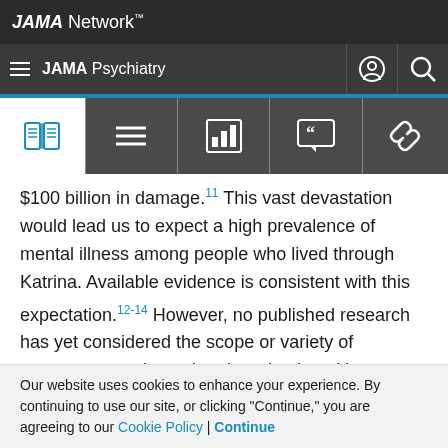JAMA Network
JAMA Psychiatry
$100 billion in damage. This vast devastation would lead us to expect a high prevalence of mental illness among people who lived through Katrina. Available evidence is consistent with this expectation.12-14 However, no published research has yet considered the scope or variety of stressors experienced or the role played by disaster-related stressors in the mental illness of people who lived through Katrina. Such an investigation has the potential to be important in targeting intervention efforts,
Our website uses cookies to enhance your experience. By continuing to use our site, or clicking "Continue," you are agreeing to our Cookie Policy | Continue